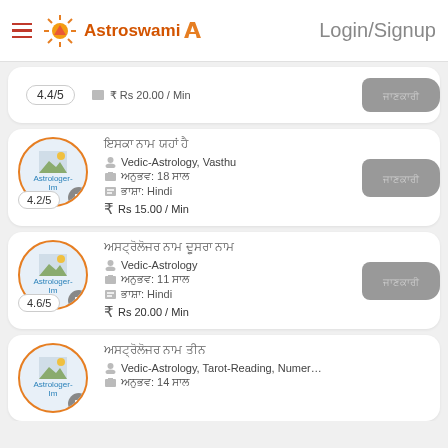Astroswami | Login/Signup
4.4/5 | ₹ Rs 20.00 / Min
अस्ट्रोलोजर नाम यहाँ | Vedic-Astrology, Vasthu | अनुभव: 18 साल | भाषा: Hindi | Rs 15.00 / Min | 4.2/5
अस्ट्रोलोजर नाम यहाँ दो | Vedic-Astrology | अनुभव: 11 साल | भाषा: Hindi | Rs 20.00 / Min | 4.6/5
अस्ट्रोलोजर नाम तीन | Vedic-Astrology, Tarot-Reading, Numer... | अनुभव: 14 साल